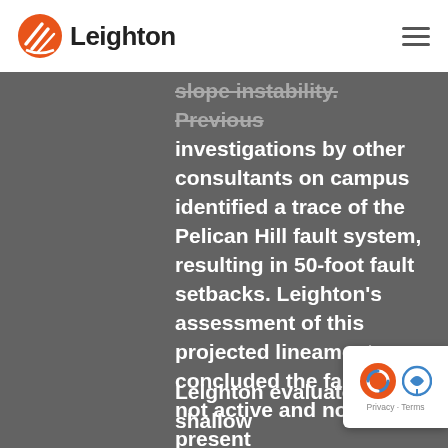Leighton
slope instability. Previous investigations by other consultants on campus identified a trace of the Pelican Hill fault system, resulting in 50-foot fault setbacks. Leighton's assessment of this projected lineament concluded the fault was not active and not present at the project location, therefore no fault related setbacks were required.
Leighton evaluated shallow